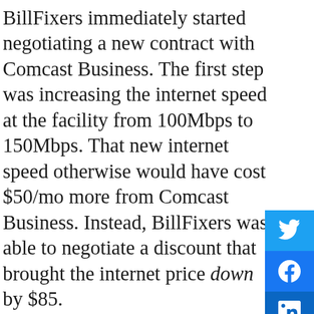BillFixers immediately started negotiating a new contract with Comcast Business. The first step was increasing the internet speed at the facility from 100Mbps to 150Mbps. That new internet speed otherwise would have cost $50/mo more from Comcast Business. Instead, BillFixers was able to negotiate a discount that brought the internet price down by $85.
In addition to the new internet discount, BillFixers negotiated lower rates on their phones and additional fees. The office had paying extra every month for long distance calls, so BillFixers negotiated free long dis